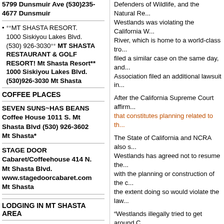5799 Dunsmuir Ave (530)235-4677 Dunsmuir
**MT SHASTA RESORT. 1000 Siskiyou Lakes Blvd. (530) 926-3030** MT SHASTA RESTAURANT & GOLF RESORT! Mt Shasta Resort** 1000 Siskiyou Lakes Blvd. (530)926-3030 Mt Shasta
COFFEE PLACES
SEVEN SUNS~HAS BEANS Coffee House 1011 S. Mt Shasta Blvd (530) 926-3602 Mt Shasta*
STAGE DOOR Cabaret/Coffeehouse 414 N. Mt Shasta Blvd. www.stagedoorcabaret.com Mt Shasta
LODGING IN MT SHASTA AREA
Mount Shasta Resort,* 800-958-3363, 1000 Siskiyou Lakes
Defenders of Wildlife, and the Natural Re... Westlands was violating the California W... River, which is home to a world-class tro... filed a similar case on the same day, and... Association filed an additional lawsuit in...
After the California Supreme Court affirm... that constitutes planning related to th...
The State of California and NCRA also s... Westlands has agreed not to resume the... with the planning or construction of the c... the extent doing so would violate the law...
“Westlands illegally tried to get around C... State Salmon Association. “This agree... biggest salmon producer in the state and... Californians who care about clean water...
“We entered into this agreement becaus... salmon killing project that threatens milli... an even bigger concrete curtain,” said N... Associations.
Anna Stimmel, an Earthjustice attorney... vigilant with our clients and partners to e... put the interests of corporate agriculture...
According to a timeline posted on Recl... planned to secure a cost-share partner b... so that is could award construction contr...